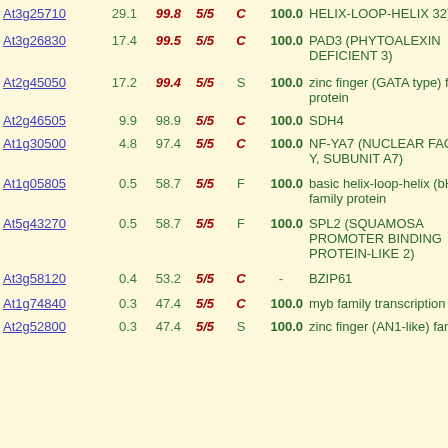| Gene | Col1 | Col2 | Col3 | Col4 | Col5 | Description |
| --- | --- | --- | --- | --- | --- | --- |
| At3g25710 | 29.1 | 99.8 | 5/5 | C | 100.0 | HELIX-LOOP-HELIX 32) |
| At3g26830 | 17.4 | 99.5 | 5/5 | C | 100.0 | PAD3 (PHYTOALEXIN DEFICIENT 3) |
| At2g45050 | 17.2 | 99.4 | 5/5 | S | 100.0 | zinc finger (GATA type) family protein |
| At2g46505 | 9.9 | 98.9 | 5/5 | C | 100.0 | SDH4 |
| At1g30500 | 4.8 | 97.4 | 5/5 | C | 100.0 | NF-YA7 (NUCLEAR FACTOR Y, SUBUNIT A7) |
| At1g05805 | 0.5 | 58.7 | 5/5 | F | 100.0 | basic helix-loop-helix (bHLH) family protein |
| At5g43270 | 0.5 | 58.7 | 5/5 | F | 100.0 | SPL2 (SQUAMOSA PROMOTER BINDING PROTEIN-LIKE 2) |
| At3g58120 | 0.4 | 53.2 | 5/5 | C | - | BZIP61 |
| At1g74840 | 0.3 | 47.4 | 5/5 | C | 100.0 | myb family transcription factor |
| At2g52800 | 0.3 | 47.4 | 5/5 | S | 100.0 | zinc finger (AN1-like) family... |